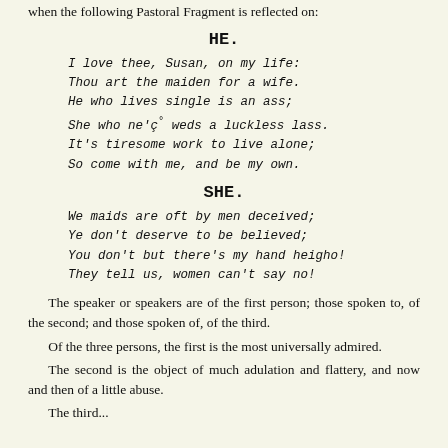when the following Pastoral Fragment is reflected on:
HE.
I love thee, Susan, on my life:
Thou art the maiden for a wife.
He who lives single is an ass;
She who ne'ç° weds a luckless lass.
It's tiresome work to live alone;
So come with me, and be my own.
SHE.
We maids are oft by men deceived;
Ye don't deserve to be believed;
You don't but there's my hand heigho!
They tell us, women can't say no!
The speaker or speakers are of the first person; those spoken to, of the second; and those spoken of, of the third.
Of the three persons, the first is the most universally admired.
The second is the object of much adulation and flattery, and now and then of a little abuse.
The third...